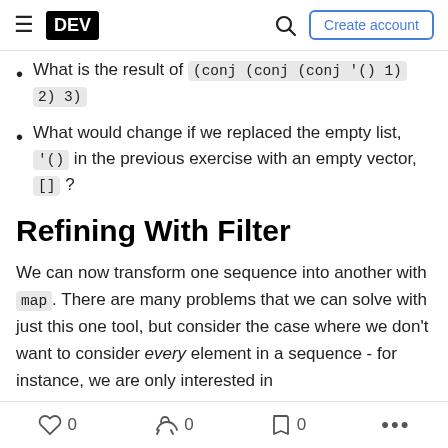DEV | Create account
What is the result of (conj (conj (conj '() 1) 2) 3)
What would change if we replaced the empty list, '() in the previous exercise with an empty vector, [] ?
Refining With Filter
We can now transform one sequence into another with map. There are many problems that we can solve with just this one tool, but consider the case where we don't want to consider every element in a sequence - for instance, we are only interested in
0  0  0  ...